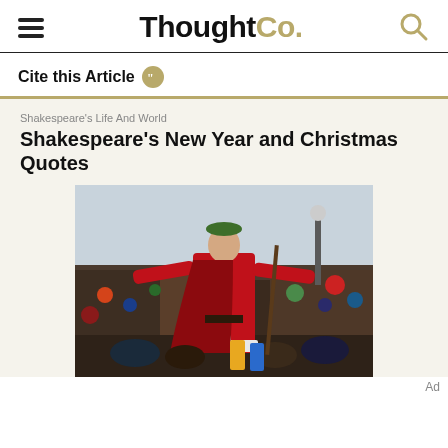ThoughtCo.
Cite this Article
Shakespeare's Life And World
Shakespeare's New Year and Christmas Quotes
[Figure (photo): A performer dressed in a red and white Father Christmas / Green Man costume with arms outstretched, standing before a large crowd of spectators outdoors.]
Ad